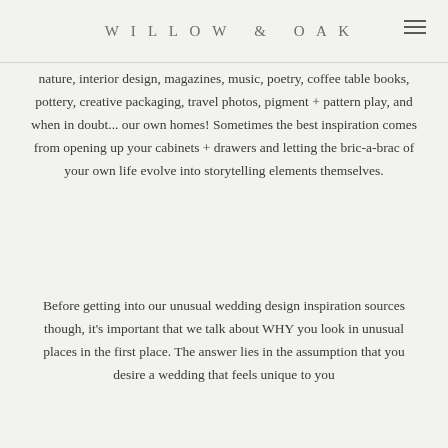WILLOW & OAK
nature, interior design, magazines, music, poetry, coffee table books, pottery, creative packaging, travel photos, pigment + pattern play, and when in doubt... our own homes! Sometimes the best inspiration comes from opening up your cabinets + drawers and letting the bric-a-brac of your own life evolve into storytelling elements themselves.
Before getting into our unusual wedding design inspiration sources though, it's important that we talk about WHY you look in unusual places in the first place. The answer lies in the assumption that you desire a wedding that feels unique to you